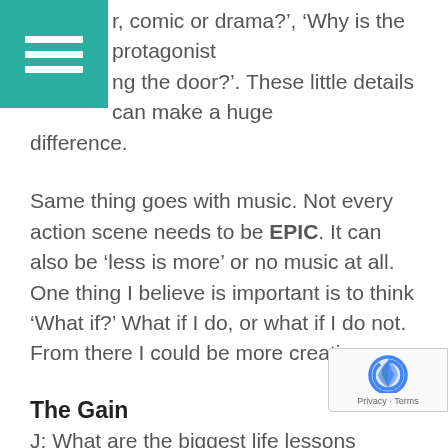r, comic or drama?', 'Why is the protagonist ng the door?'. These little details can make a huge difference.
Same thing goes with music. Not every action scene needs to be EPIC. It can also be 'less is more' or no music at all. One thing I believe is important is to think 'What if?' What if I do, or what if I do not. From there I could be more creative.
The Gain
J: What are the biggest life lessons learned in your personal and professional career?
S: Be a friend. In this industry, in this community, we cannot work alone. Every job needs someone to collaborate with. And if they do not know me, the not ask me to work with them. It is difficult to be